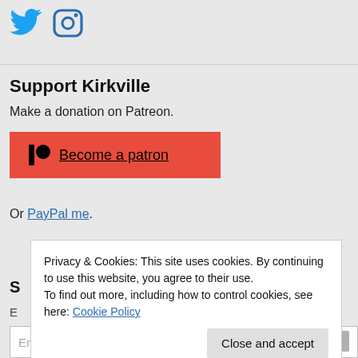[Figure (logo): Twitter and Instagram social media icons in blue]
Support Kirkville
Make a donation on Patreon.
[Figure (other): Red Patreon button with Patreon logo icon and text 'Become a patron']
Or PayPal me.
Privacy & Cookies: This site uses cookies. By continuing to use this website, you agree to their use.
To find out more, including how to control cookies, see here: Cookie Policy
Close and accept